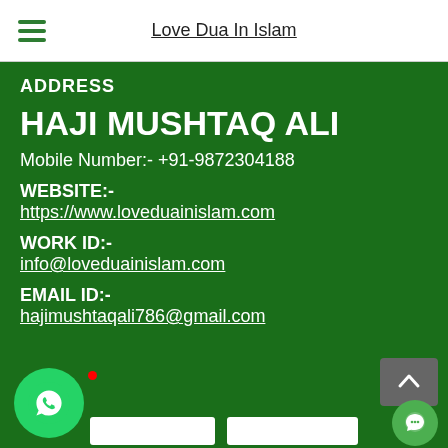Love Dua In Islam
ADDRESS
HAJI MUSHTAQ ALI
Mobile Number:- +91-9872304188
WEBSITE:-
https://www.loveduainislam.com
WORK ID:-
info@loveduainislam.com
EMAIL ID:-
hajimushtaqali786@gmail.com